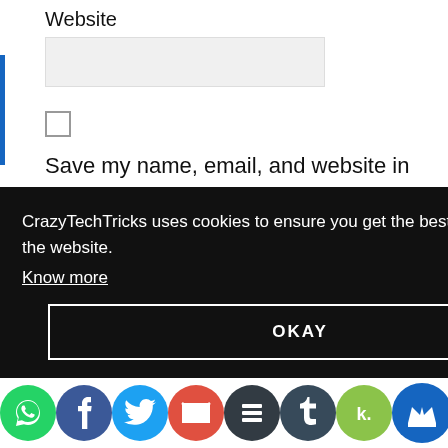Website
[Figure (screenshot): Website text input field, empty, light gray background]
[Figure (screenshot): Unchecked checkbox]
Save my name, email, and website in this browser for the next time I comment.
[Figure (screenshot): POST COMMENT button, dark gray background, white uppercase text]
CrazyTechTricks uses cookies to ensure you get the best experience on the website.
Know more
[Figure (screenshot): OKAY button, black background with white border and white uppercase text]
[Figure (screenshot): Social sharing icons bar: WhatsApp, Facebook, Twitter, Gmail, Buffer, Tumblr, Kik, Crown/other]